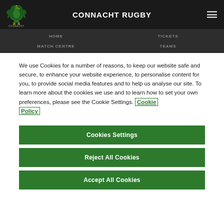CONNACHT RUGBY
HOME  TICKETS  MATCH CENTRE  TEAMS
We use Cookies for a number of reasons, to keep our website safe and secure, to enhance your website experience, to personalise content for you, to provide social media features and to help us analyse our site. To learn more about the cookies we use and to learn how to set your own preferences, please see the Cookie Settings. Cookie Policy
Cookies Settings
Reject All Cookies
Accept All Cookies